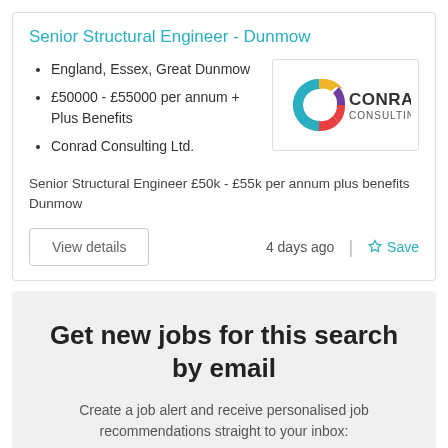Senior Structural Engineer - Dunmow
England, Essex, Great Dunmow
£50000 - £55000 per annum + Plus Benefits
Conrad Consulting Ltd.
[Figure (logo): Conrad Consulting logo — stylized C in teal/blue/orange/purple colors with text CONRAD CONSULTING]
Senior Structural Engineer £50k - £55k per annum plus benefits Dunmow
View details
4 days ago
Save
Get new jobs for this search by email
Create a job alert and receive personalised job recommendations straight to your inbox: